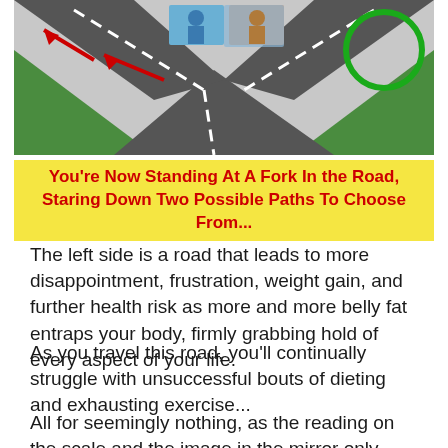[Figure (illustration): A fork in the road illustration showing a crossroads with asphalt roads, green grass on the sides, red arrows pointing left, and circular inset photos of people. Green circle on upper right.]
You're Now Standing At A Fork In the Road, Staring Down Two Possible Paths To Choose From...
The left side is a road that leads to more disappointment, frustration, weight gain, and further health risk as more and more belly fat entraps your body, firmly grabbing hold of every aspect of your life.
As you travel this road, you'll continually struggle with unsuccessful bouts of dieting and exhausting exercise...
All for seemingly nothing, as the reading on the scale and the image in the mirror only